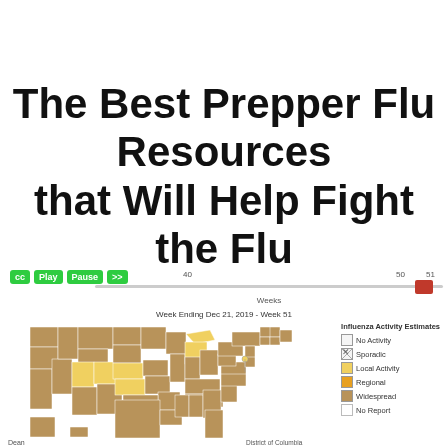The Best Prepper Flu Resources that Will Help Fight the Flu
[Figure (map): CDC FluView interactive map screenshot showing US influenza activity estimates for Week Ending Dec 21, 2019 - Week 51. States colored by activity level: widespread (brown/tan), regional (orange), local activity (yellow), sporadic (hatched), no activity (white), no report (white). Legend shows: No Activity, Sporadic, Local Activity, Regional, Widespread, No Report. Controls bar shows cc, Play, Pause, >> buttons. Timeline shows weeks 40 through 51 with a red marker at week 51.]